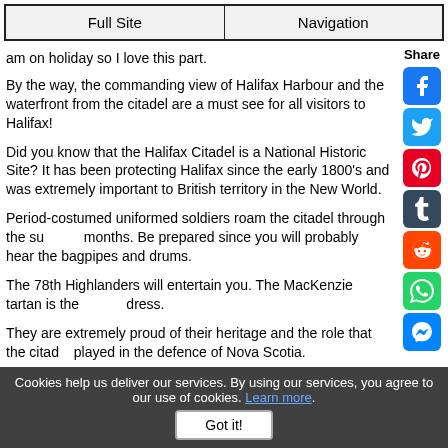Full Site | Navigation
am on holiday so I love this part.
By the way, the commanding view of Halifax Harbour and the waterfront from the citadel are a must see for all visitors to Halifax!
Did you know that the Halifax Citadel is a National Historic Site? It has been protecting Halifax since the early 1800's and was extremely important to British territory in the New World.
Period-costumed uniformed soldiers roam the citadel through the summer months. Be prepared since you will probably hear the bagpipes and drums.
The 78th Highlanders will entertain you. The MacKenzie tartan is the dress.
They are extremely proud of their heritage and the role that the citadel played in the defence of Nova Scotia.
[Figure (photo): Photo of Halifax Citadel walls with green grass on top]
Cookies help us deliver our services. By using our services, you agree to our use of cookies. Learn more. Got it!